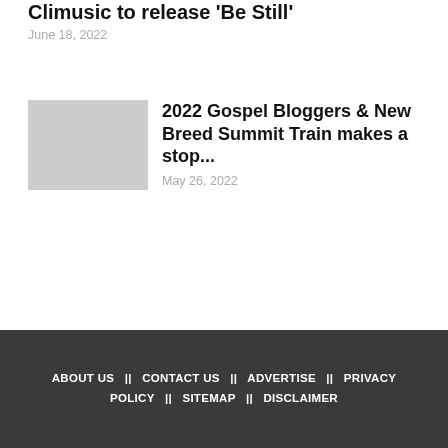Climusic to release 'Be Still'
June 18, 2022
2022 Gospel Bloggers & New Breed Summit Train makes a stop...
May 26, 2022
ABOUT US  ||  CONTACT US  ||  ADVERTISE  ||  PRIVACY POLICY  ||  SITEMAP  ||  DISCLAIMER